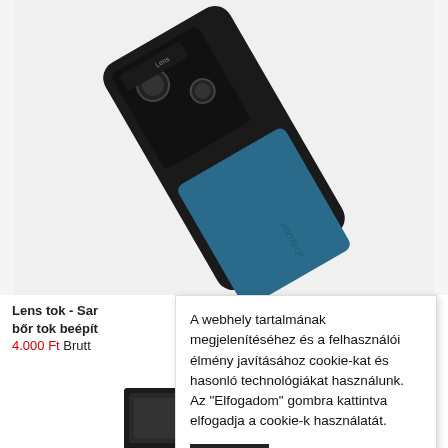[Figure (photo): Back of a smartphone with a blue leather case and visible camera module, shown at an angle]
Lens tok - Sar bőr tok beépít 4.000 Ft Brutt
A webhely tartalmának megjelenítéséhez és a felhasználói élmény javításához cookie-kat és hasonló technológiákat használunk. Az "Elfogadom" gombra kattintva elfogadja a cookie-k használatát.
Bővebben  Elfogadom
[Figure (photo): Bottom portion of a black phone case product]